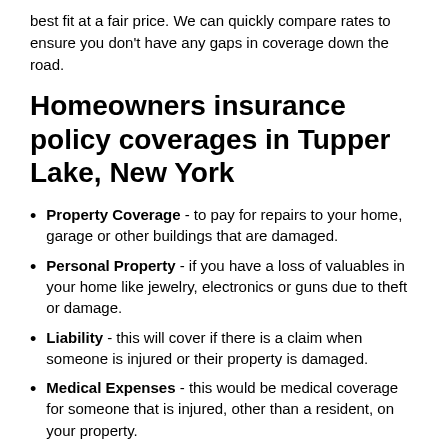best fit at a fair price. We can quickly compare rates to ensure you don't have any gaps in coverage down the road.
Homeowners insurance policy coverages in Tupper Lake, New York
Property Coverage - to pay for repairs to your home, garage or other buildings that are damaged.
Personal Property - if you have a loss of valuables in your home like jewelry, electronics or guns due to theft or damage.
Liability - this will cover if there is a claim when someone is injured or their property is damaged.
Medical Expenses - this would be medical coverage for someone that is injured, other than a resident, on your property.
Living Expenses - if you have a complete loss, you may need extra temporary housing or food when you're forced from your home.
There may also be other coverages that you many want to consider